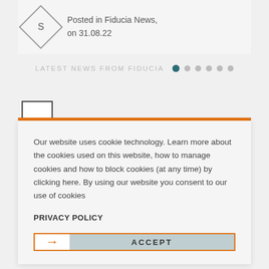[Figure (screenshot): Fiducia website card showing 'Posted in Fiducia News, on 31.08.22' with a diamond-shaped icon]
Posted in Fiducia News, on 31.08.22
LATEST NEWS FROM FIDUCIA
[Figure (screenshot): Cookie consent popup with text about cookie technology, Privacy Policy link, and Accept button]
Our website uses cookie technology. Learn more about the cookies used on this website, how to manage cookies and how to block cookies (at any time) by clicking here. By using our website you consent to our use of cookies
PRIVACY POLICY
ACCEPT